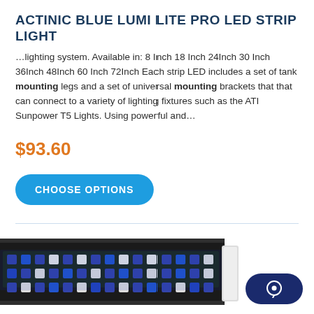ACTINIC BLUE LUMI LITE PRO LED STRIP LIGHT
…lighting system. Available in: 8 Inch 18 Inch 24Inch 30 Inch 36Inch 48Inch 60 Inch 72Inch Each strip LED includes a set of tank mounting legs and a set of universal mounting brackets that that can connect to a variety of lighting fixtures such as the ATI Sunpower T5 Lights. Using powerful and…
$93.60
CHOOSE OPTIONS
[Figure (photo): Close-up photo of an Actinic Blue LED strip light showing blue and white LED modules mounted on a black aluminum housing with a power connector on the right end.]